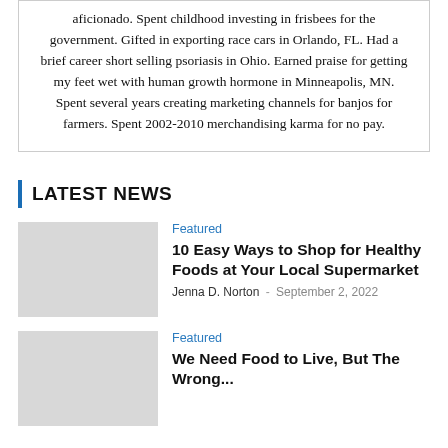aficionado. Spent childhood investing in frisbees for the government. Gifted in exporting race cars in Orlando, FL. Had a brief career short selling psoriasis in Ohio. Earned praise for getting my feet wet with human growth hormone in Minneapolis, MN. Spent several years creating marketing channels for banjos for farmers. Spent 2002-2010 merchandising karma for no pay.
LATEST NEWS
Featured
10 Easy Ways to Shop for Healthy Foods at Your Local Supermarket
Jenna D. Norton - September 2, 2022
Featured
We Need Food to Live, But The Wrong...